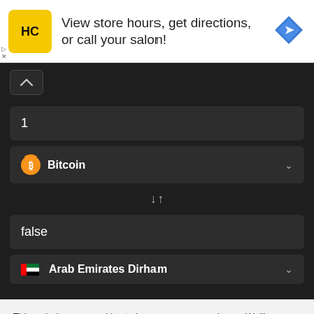[Figure (screenshot): Advertisement banner for Haircutters (HC) salon: logo with HC text in yellow circle, text 'View store hours, get directions, or call your salon!', blue diamond navigation arrow icon on right, ad controls (play/close) on left]
[Figure (screenshot): Cryptocurrency converter UI on dark background: chevron-up button, input field with value '1', Bitcoin dropdown selector with orange BTC icon, swap arrows symbol (↓↑), 'false' input field, Arab Emirates Dirham dropdown with UAE flag]
This website uses cookies to improve your experience. We'll assume you're ok with this, but you can opt-out if you wish.
Accept
Read More